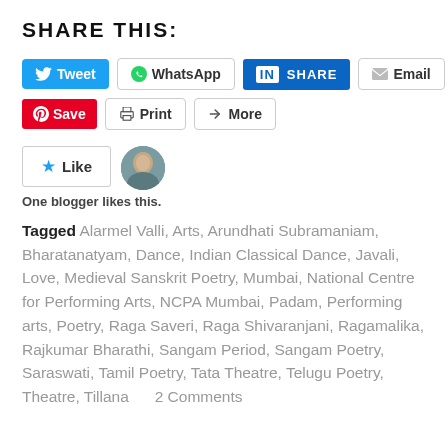SHARE THIS:
[Figure (screenshot): Social sharing buttons: Tweet (Twitter), WhatsApp, LinkedIn Share, Email]
[Figure (screenshot): Additional sharing buttons: Save (Pinterest), Print, More]
[Figure (screenshot): Like button with star icon and one blogger avatar photo]
One blogger likes this.
Tagged Alarmel Valli, Arts, Arundhati Subramaniam, Bharatanatyam, Dance, Indian Classical Dance, Javali, Love, Medieval Sanskrit Poetry, Mumbai, National Centre for Performing Arts, NCPA Mumbai, Padam, Performing arts, Poetry, Raga Saveri, Raga Shivaranjani, Ragamalika, Rajkumar Bharathi, Sangam Period, Sangam Poetry, Saraswati, Tamil Poetry, Tata Theatre, Telugu Poetry, Theatre, Tillana     2 Comments